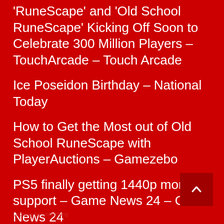'RuneScape' and 'Old School RuneScape' Kicking Off Soon to Celebrate 300 Million Players – TouchArcade – Touch Arcade
Ice Poseidon Birthday – National Today
How to Get the Most out of Old School RuneScape with PlayerAuctions – Gamezebo
PS5 finally getting 1440p monitor support – Game News 24 – Game News 24
FIFA 23 will include cross-play, PC to get the next-gen version – PC Invasion
Looking for something